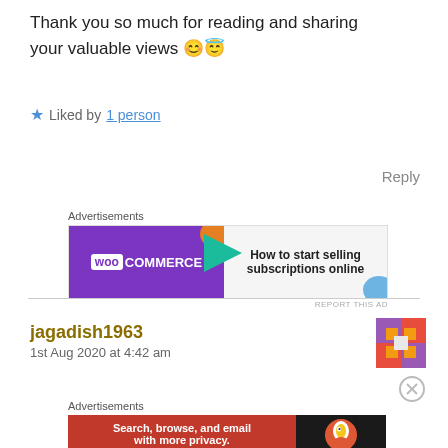Thank you so much for reading and sharing your valuable views 😊😇
★ Liked by 1 person
Reply
[Figure (other): WooCommerce advertisement banner: 'How to start selling subscriptions online']
jagadish1963
1st Aug 2020 at 4:42 am
[Figure (other): User avatar for jagadish1963 - colorful geometric pattern]
[Figure (other): DuckDuckGo advertisement: 'Search, browse, and email with more privacy. All in One Free App. DuckDuckGo']